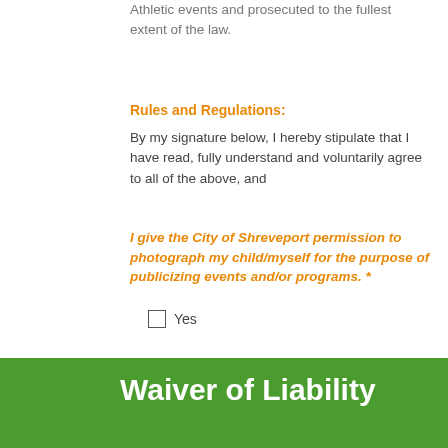Athletic events and prosecuted to the fullest extent of the law.
Rules and Regulations:
By my signature below, I hereby stipulate that I have read, fully understand and voluntarily agree to all of the above, and
I give the City of Shreveport permission to photograph my child/myself for the purpose of publicizing events and/or programs. *
Yes
I have read the SPAR Code of Conduct and my signature will serve as verification that that I will adhere to them accordingly *
Yes
Waiver of Liability